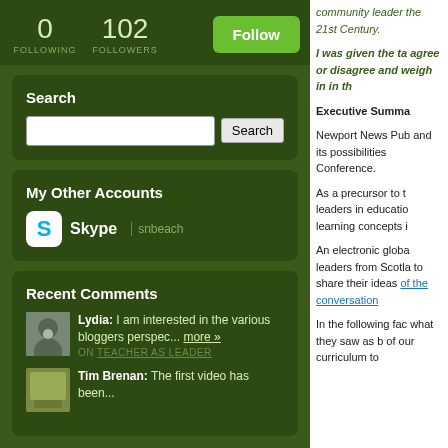0 FOLLOWING  102 FOLLOWERS  Follow
Search
My Other Accounts
Skype  snbeach
Recent Comments
Lydia: I am interested in the various bloggers perspec... more »
ON TEACHER AS LEADER
Tim Brenan: The first video has been...
community leader the 21st Century.
I was given the ta agree or disagree and weigh in in th
Executive Summa
Newport News Pub and its possibilities Conference.
As a precursor to t leaders in educatio learning concepts i
An electronic globa leaders from Scotla to share their ideas of the conversation
In the following fac what they saw as b of our curriculum to